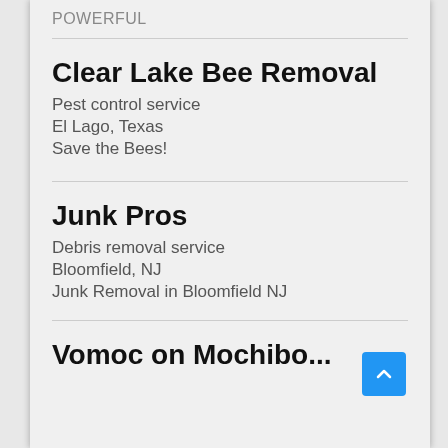POWERFUL
Clear Lake Bee Removal
Pest control service
El Lago, Texas
Save the Bees!
Junk Pros
Debris removal service
Bloomfield, NJ
Junk Removal in Bloomfield NJ
Vomoc on Mochibo...